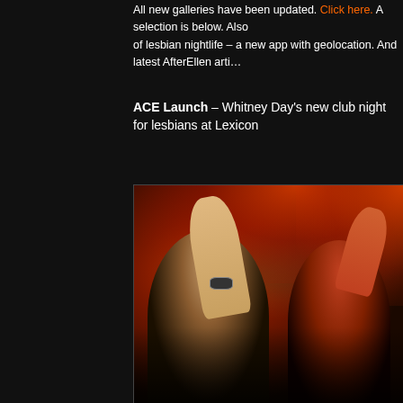All new galleries have been updated. Click here. A selection is below. Also of lesbian nightlife – a new app with geolocation. And latest AfterEllen arti…
ACE Launch – Whitney Day's new club night for lesbians at Lexicon
[Figure (photo): Crowd of people dancing at a nightclub with red and orange lighting. A person in the foreground raises their arm/hand pointing up, wearing a watch. A woman in a red top holds a drink cup and raises her arm. Multiple people visible in the background.]